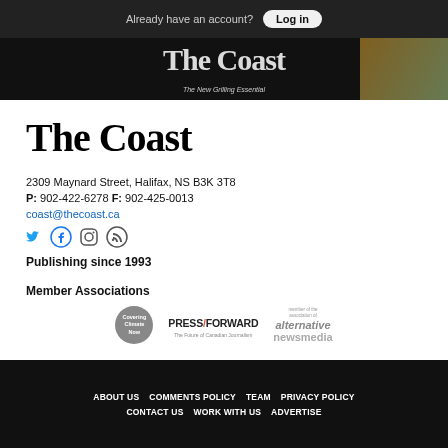Already have an account? Log in
[Figure (logo): The Coast newspaper banner logo in white text on dark background with food advertisement image]
[Figure (logo): The Coast large serif logo]
2309 Maynard Street, Halifax, NS B3K 3T8
P: 902-422-6278 F: 902-425-0013
coast@thecoast.ca
[Figure (infographic): Social media icons: Twitter, Facebook, Instagram, RSS]
Publishing since 1993
Member Associations
[Figure (logo): Covering Climate Now circular logo, PressForward logo, and Alternative Newsmedia member logo]
ABOUT US   COMMENTS POLICY   TEAM   PRIVACY POLICY   CONTACT US   WORK WITH US   ADVERTISE